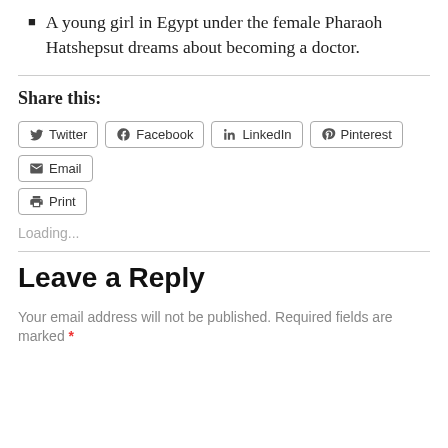A young girl in Egypt under the female Pharaoh Hatshepsut dreams about becoming a doctor.
Share this:
Twitter Facebook LinkedIn Pinterest Email Print
Loading...
Leave a Reply
Your email address will not be published. Required fields are marked *